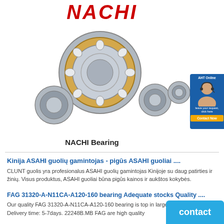[Figure (photo): NACHI brand bearings product photo with multiple ball bearings and cylindrical roller bearing, with NACHI logo in red italic at top]
NACHI Bearing
[Figure (photo): Side widget with customer service representative photo and contact button, blue background with orange button]
Kinija ASAHI guolių gamintojas - pigūs ASAHI guoliai ....
CLUNT guolis yra profesionalus ASAHI guolių gamintojas Kinijoje su daug patirties ir žinių. Visus produktus, ASAHI guoliai būna pigūs kainos ir aukštos kokybės.
FAG 31320-A-N11CA-A120-160 bearing Adequate stocks Quality ....
Our quality FAG 31320-A-N11CA-A120-160 bearing is top in large inventory now. Delivery time: 5-7days. 22248B.MB FAG are high quality
contact